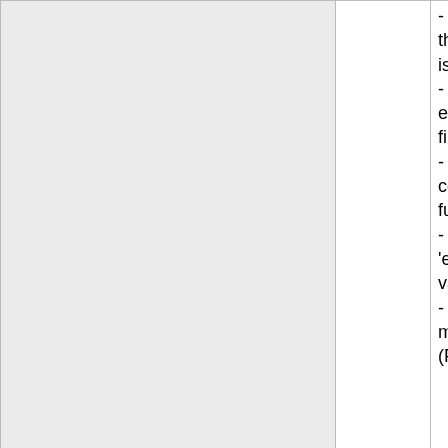|  | Version | Changes |
| --- | --- | --- |
|  |  | - Fixed bug #109: DBGP's eval will the eval statement is invalid.
- Fixed bug #108: log_only still disp errors in included files.
- Fixed bug #107: Code Coverage code in used functions and classes.
- Fixed bug #103: crash when runn 'eval' on a global variable
- Fixed bug #95: Segfault when de module.
(Patch by Maxim Poltarak <demiur |
|  | 2.0.0beta2 | + Added new features:
- DBGP: Added error messages to cases)

+ Added new functions:
- Added a function "xdebug_debug printing its refcounts and is_ref values.

= Changed features:
- xdebug_code_coverage_stop() w code coverage array,
unless you specify FALSE as para |